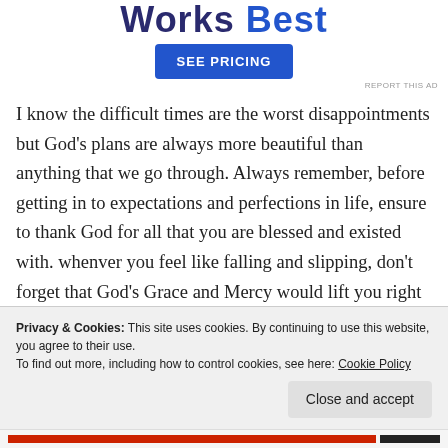[Figure (other): Ad banner with bold text 'Works Best' and a blue 'SEE PRICING' button]
REPORT THIS AD
I know the difficult times are the worst disappointments but God's plans are always more beautiful than anything that we go through. Always remember, before getting in to expectations and perfections in life, ensure to thank God for all that you are blessed and existed with. whenver you feel like falling and slipping, don't forget that God's Grace and Mercy would lift you right back
Privacy & Cookies: This site uses cookies. By continuing to use this website, you agree to their use.
To find out more, including how to control cookies, see here: Cookie Policy
Close and accept